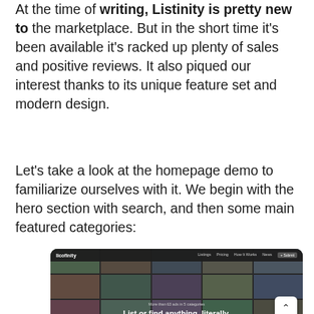At the time of writing, Listinity is pretty new to the marketplace. But in the short time it's been available it's racked up plenty of sales and positive reviews. It also piqued our interest thanks to its unique feature set and modern design.
Let's take a look at the homepage demo to familiarize ourselves with it. We begin with the hero section with search, and then some main featured categories:
[Figure (screenshot): Screenshot of the Listinity website homepage showing a navigation bar with logo and links (Listings, Pricing, How It Works, News, Submit), a hero section with a grid of category images in the background, and the headline text 'List or find anything, literally.' with a subtitle 'More than 63 ads in 5 categories'. A back-to-top button (^) appears in the bottom right corner.]